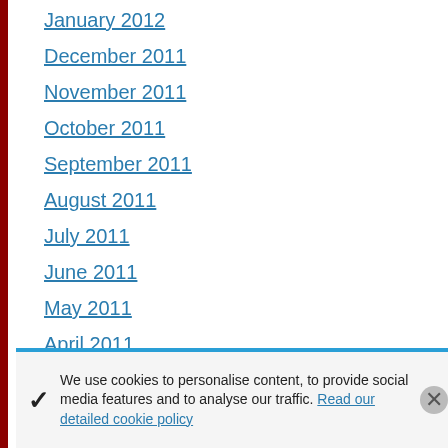January 2012
December 2011
November 2011
October 2011
September 2011
August 2011
July 2011
June 2011
May 2011
April 2011
March 2011
February 2011
January 2011
CATEGORIES
We use cookies to personalise content, to provide social media features and to analyse our traffic. Read our detailed cookie policy